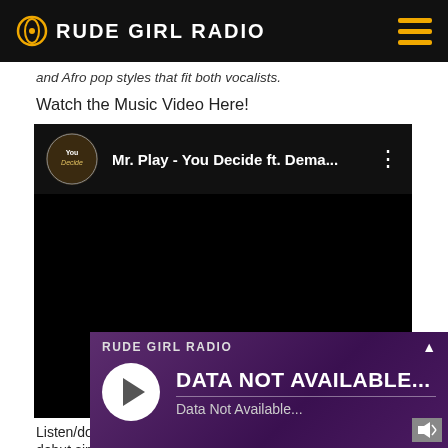RUDE GIRL RADIO
and Afro pop styles that fit both vocalists.
Watch the Music Video Here!
[Figure (screenshot): Embedded YouTube video player showing 'Mr. Play - You Decide ft. Dema...' with a dark background and YouTube-style header with thumbnail circle, title text, and three-dot menu.]
Listen/do... debut sin...
[Figure (screenshot): Rude Girl Radio embedded audio player overlay with purple gradient background, showing 'DATA NOT AVAILABLE...' as main title and 'Data Not Available...' as subtitle, with a play button circle on the left.]